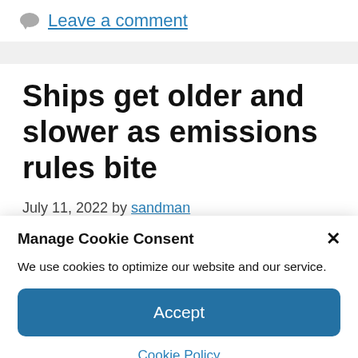Leave a comment
Ships get older and slower as emissions rules bite
July 11, 2022 by sandman
Manage Cookie Consent
We use cookies to optimize our website and our service.
Accept
Cookie Policy